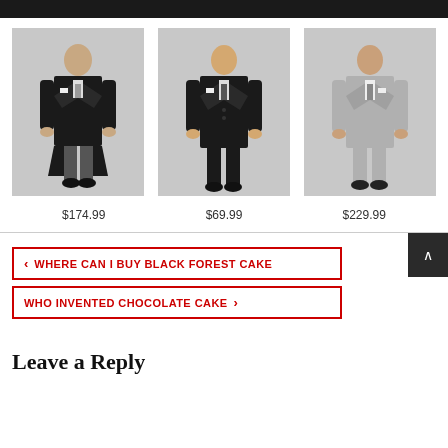[Figure (photo): Three men's suits/tuxedos product photos: left - black tailcoat with grey trousers ($174.99), center - black suit ($69.99), right - light grey suit ($229.99)]
$174.99
$69.99
$229.99
‹ WHERE CAN I BUY BLACK FOREST CAKE
WHO INVENTED CHOCOLATE CAKE ›
Leave a Reply